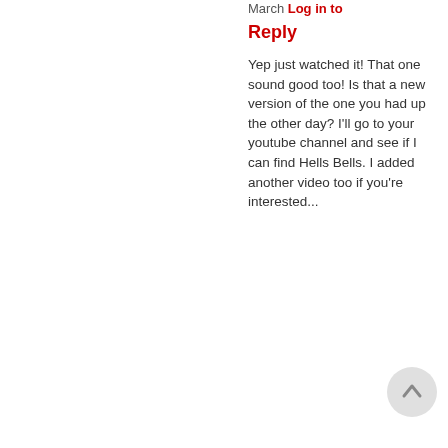04:47h, 10 March Log in to Reply
Yep just watched it! That one sound good too! Is that a new version of the one you had up the other day? I'll go to your youtube channel and see if I can find Hells Bells. I added another video too if you're interested...